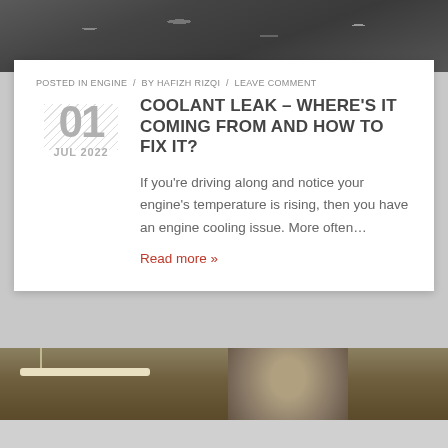[Figure (photo): Top photo showing engine/mechanical parts closeup, dark tones]
POSTED IN ENGINE / BY HAFIZH RIZQI / LEAVE COMMENT
COOLANT LEAK – WHERE'S IT COMING FROM AND HOW TO FIX IT?
If you're driving along and notice your engine's temperature is rising, then you have an engine cooling issue. More often…
Read more »
[Figure (photo): Bottom photo showing a mechanic/person in a hoodie working in a garage workshop]